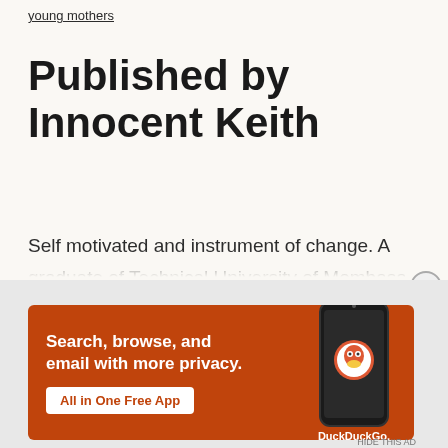young mothers
Published by Innocent Keith
Self motivated and instrument of change. A graduate of Technical University of Mombasa with a Bachelors in Mass Journalism, which has empowered me with instrument and tools to be an effective communicator. I am motivated to be an
[Figure (screenshot): DuckDuckGo advertisement banner on orange background with text 'Search, browse, and email with more privacy. All in One Free App' and a phone image showing the DuckDuckGo app icon]